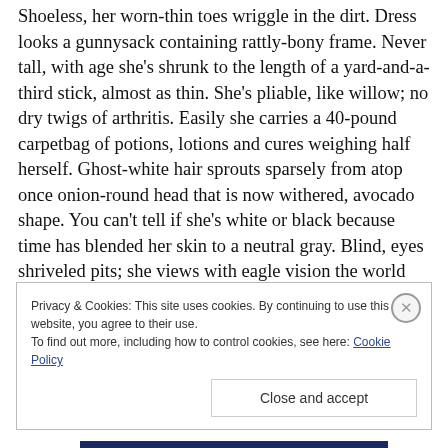Shoeless, her worn-thin toes wriggle in the dirt. Dress looks a gunnysack containing rattly-bony frame. Never tall, with age she's shrunk to the length of a yard-and-a-third stick, almost as thin. She's pliable, like willow; no dry twigs of arthritis. Easily she carries a 40-pound carpetbag of potions, lotions and cures weighing half herself. Ghost-white hair sprouts sparsely from atop once onion-round head that is now withered, avocado shape. You can't tell if she's white or black because time has blended her skin to a neutral gray. Blind, eyes shriveled pits; she views with eagle vision the world through her senses.
Privacy & Cookies: This site uses cookies. By continuing to use this website, you agree to their use.
To find out more, including how to control cookies, see here: Cookie Policy